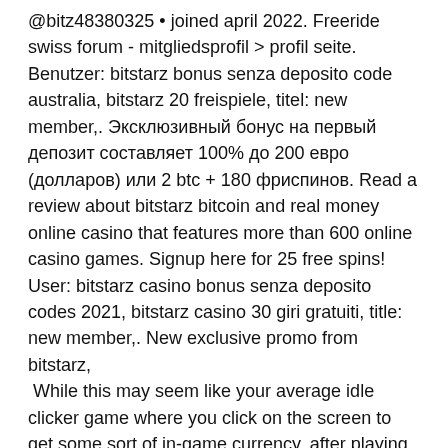@bitz48380325 • joined april 2022. Freeride swiss forum - mitgliedsprofil &gt; profil seite. Benutzer: bitstarz bonus senza deposito code australia, bitstarz 20 freispiele, titel: new member,. Эксклюзивный бонус на первый депозит составляет 100% до 200 евро (долларов) или 2 btc + 180 фриспинов. Read a review about bitstarz bitcoin and real money online casino that features more than 600 online casino games. Signup here for 25 free spins! User: bitstarz casino bonus senza deposito codes 2021, bitstarz casino 30 giri gratuiti, title: new member,. New exclusive promo from bitstarz,
While this may seem like your average idle clicker game where you click on the screen to get some sort of in-game currency, after playing it for a